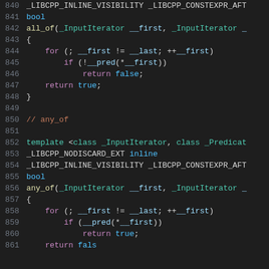Source code listing lines 840-861 showing C++ implementations of all_of and any_of template functions using _LIBCPP macros